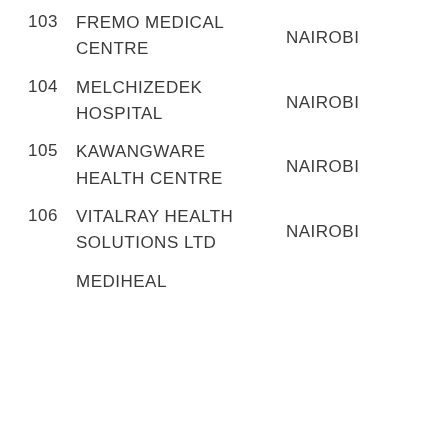103 FREMO MEDICAL CENTRE   NAIROBI
104 MELCHIZEDEK HOSPITAL   NAIROBI
105 KAWANGWARE HEALTH CENTRE   NAIROBI
106 VITALRAY HEALTH SOLUTIONS LTD   NAIROBI
MEDIHEAL